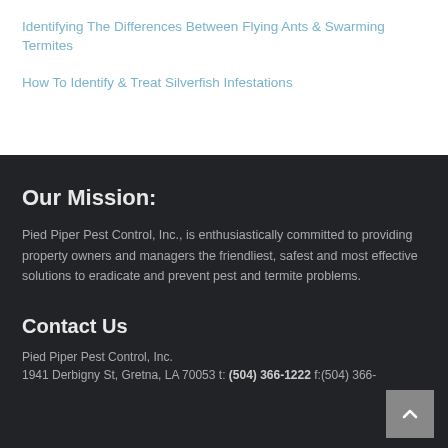Identifying The Differences Between Flying Ants & Swarming Termites
How To Identify & Treat Silverfish Infestations
Our Mission:
Pied Piper Pest Control, Inc., is enthusiastically committed to providing property owners and managers the friendliest, safest and most effective solutions to eradicate and prevent pest and termite problems.
Contact Us
Pied Piper Pest Control, Inc.
1941 Derbigny St, Gretna, LA 70053 t: (504) 366-1222 f:(504) 366-